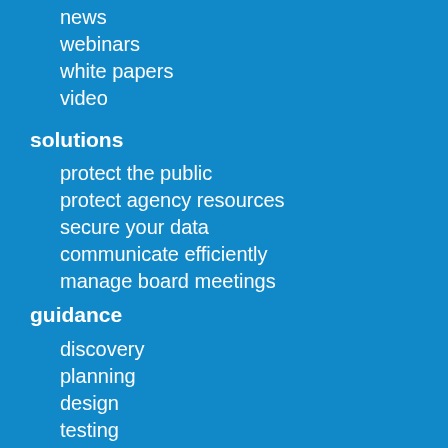news
webinars
white papers
video
solutions
protect the public
protect agency resources
secure your data
communicate efficiently
manage board meetings
guidance
discovery
planning
design
testing
deployment
support